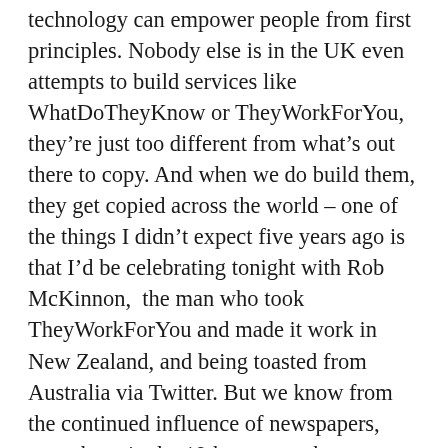technology can empower people from first principles. Nobody else is in the UK even attempts to build services like WhatDoTheyKnow or TheyWorkForYou, they’re just too different from what’s out there to copy. And when we do build them, they get copied across the world – one of the things I didn’t expect five years ago is that I’d be celebrating tonight with Rob McKinnon,  the man who took TheyWorkForYou and made it work in New Zealand, and being toasted from Australia via Twitter. But we know from the continued influence of newspapers, some born in the 19th century, that political media needs longevity to gain the reach and legitimacy required to transform whole systems and to challenge the expectations of whole populations. mySociety needs to work out how to be here not just in 6 months, but in 20 years.
To do this, however, we must do something about our funding. mySociety remains deeply financially insecure